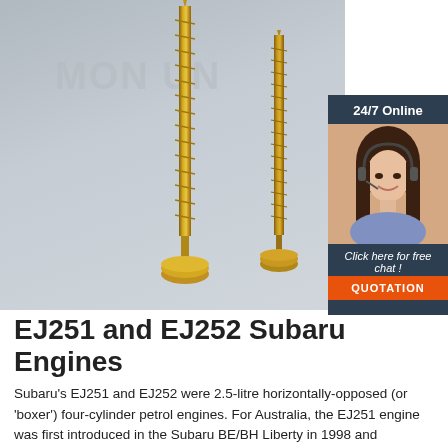[Figure (photo): Two gold/brass wood screws standing upright on a gray surface, with a watermark text 'MONUN' overlaid. A sidebar panel on the right shows a customer service representative with headset, '24/7 Online' text, 'Click here for free chat!' text, and an orange 'QUOTATION' button.]
EJ251 and EJ252 Subaru Engines
Subaru's EJ251 and EJ252 were 2.5-litre horizontally-opposed (or 'boxer') four-cylinder petrol engines. For Australia, the EJ251 engine was first introduced in the Subaru BE/BH Liberty in 1998 and subsequently